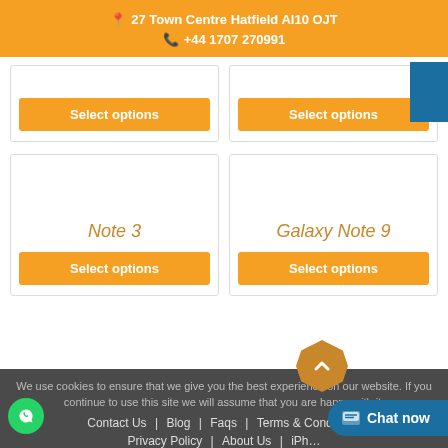📍 27 Town Centre Hatfield Al10 OJT
📞 +44 1707 270991
Select options
Select options
Note 3
Select options
Galaxy Note 9
Select options
We use cookies to ensure that we give you the best experience on our website. If you continue to use this site we will assume that you are happy with it.
Contact Us | Blog | Faqs | Terms & Conditions | Privacy Policy | About Us | iPhone